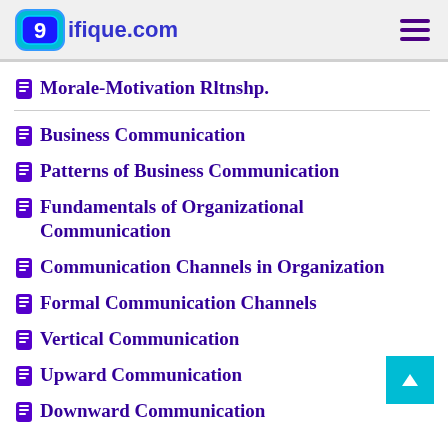ifique.com
Morale-Motivation Rltnshp.
Business Communication
Patterns of Business Communication
Fundamentals of Organizational Communication
Communication Channels in Organization
Formal Communication Channels
Vertical Communication
Upward Communication
Downward Communication